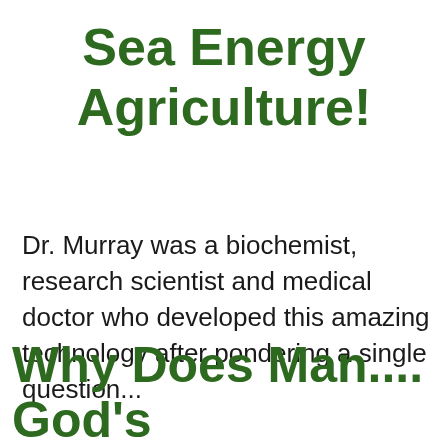Sea Energy Agriculture!
Dr. Murray was a biochemist, research scientist and medical doctor who developed this amazing technology after pondering a single question...
Why Does Man.... God's